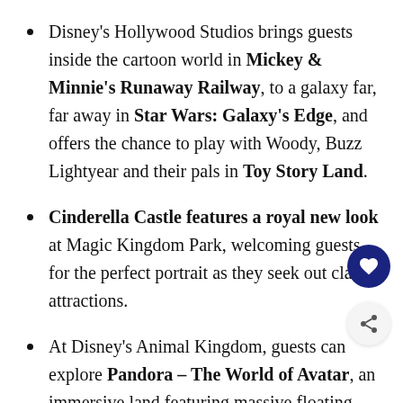Disney's Hollywood Studios brings guests inside the cartoon world in Mickey & Minnie's Runaway Railway, to a galaxy far, far away in Star Wars: Galaxy's Edge, and offers the chance to play with Woody, Buzz Lightyear and their pals in Toy Story Land.
Cinderella Castle features a royal new look at Magic Kingdom Park, welcoming guests for the perfect portrait as they seek out classic attractions.
At Disney's Animal Kingdom, guests can explore Pandora – The World of Avatar, an immersive land featuring massive floating mountains, bioluminescent rainforests and unbelievable experiences including Avatar